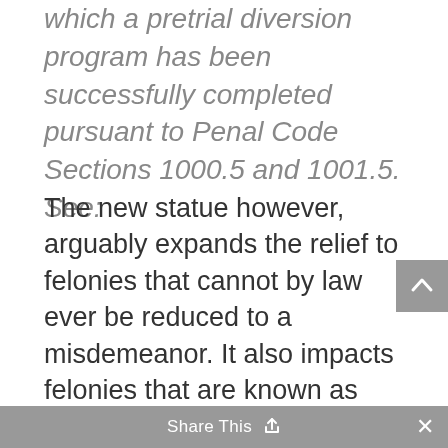which a pretrial diversion program has been successfully completed pursuant to Penal Code Sections 1000.5 and 1001.5. See:
The new statue however, arguably expands the relief to felonies that cannot by law ever be reduced to a misdemeanor. It also impacts felonies that are known as “wobblers” that can be either a misdemeanor or a felony, where a Court does not grant a motion under Penal Code Section 17b to reduce the felony offense to a misdemeanor before granting the expungement. The statue also adds protections for judicial set asides occurring under three related but different sections of